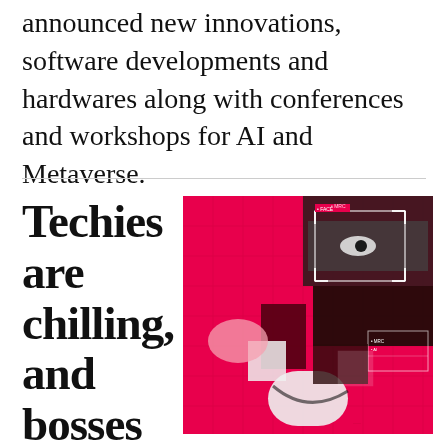announced new innovations, software developments and hardwares along with conferences and workshops for AI and Metaverse.
Techies are chilling, and bosses are not happy
[Figure (photo): A vivid red/magenta collage image featuring fragmented facial recognition overlays and geometric shapes on a bright crimson background, with a person's face shown in black and white segments with UI overlay boxes.]